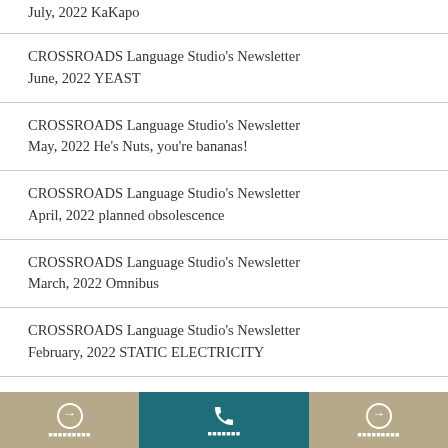July, 2022 KaKapo
CROSSROADS Language Studio's Newsletter June, 2022 YEAST
CROSSROADS Language Studio's Newsletter May, 2022 He's Nuts, you're bananas!
CROSSROADS Language Studio's Newsletter April, 2022 planned obsolescence
CROSSROADS Language Studio's Newsletter March, 2022 Omnibus
CROSSROADS Language Studio's Newsletter February, 2022 STATIC ELECTRICITY
navigation footer with phone icon